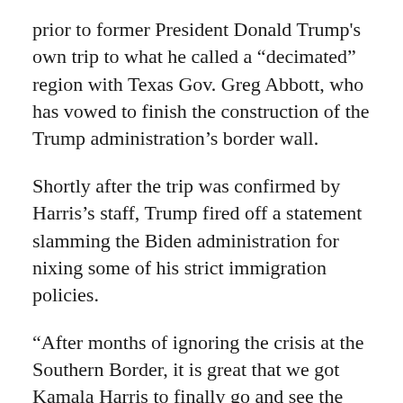prior to former President Donald Trump's own trip to what he called a “decimateed” region with Texas Gov. Greg Abbott, who has vowed to finish the construction of the Trump administration's border wall.
Shortly after the trip was confirmed by Harris’s staff, Trump fired off a statement slamming the Biden administration for nixing some of his strict immigration policies.
“After months of ignoring the crisis at the Southern Border, it is great that we got Kamala Harris to finally go and see the tremendous destruction and death that they’ve created — a direct result of Biden ending my very tough but fair Border policies,” Trump said. “Harris and Biden were given the strongest Border in American history. And now, it is by far the worst in